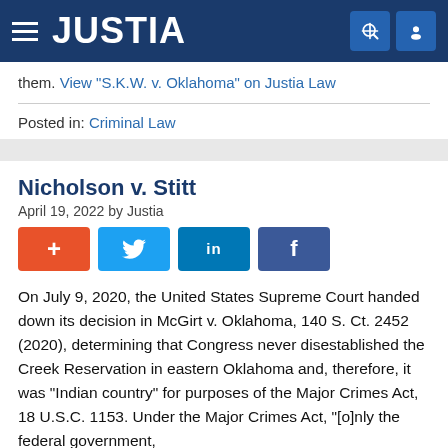JUSTIA
them. View "S.K.W. v. Oklahoma" on Justia Law
Posted in: Criminal Law
Nicholson v. Stitt
April 19, 2022 by Justia
[Figure (other): Social sharing buttons: plus, Twitter, LinkedIn, Facebook]
On July 9, 2020, the United States Supreme Court handed down its decision in McGirt v. Oklahoma, 140 S. Ct. 2452 (2020), determining that Congress never disestablished the Creek Reservation in eastern Oklahoma and, therefore, it was "Indian country" for purposes of the Major Crimes Act, 18 U.S.C. 1153. Under the Major Crimes Act, "[o]nly the federal government,